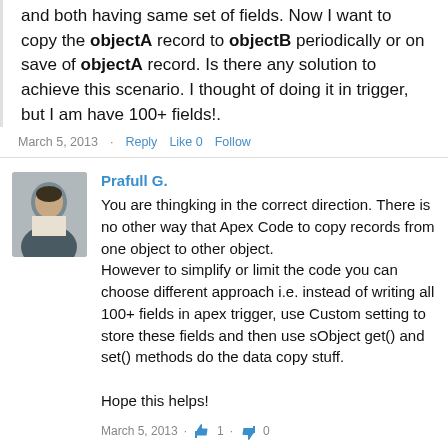and both having same set of fields. Now I want to copy the objectA record to objectB periodically or on save of objectA record. Is there any solution to achieve this scenario. I thought of doing it in trigger, but I am have 100+ fields!.
March 5, 2013 · Reply   Like 0   Follow
Prafull G.
You are thingking in the correct direction. There is no other way that Apex Code to copy records from one object to other object.
However to simplify or limit the code you can choose different approach i.e. instead of writing all 100+ fields in apex trigger, use Custom setting to store these fields and then use sObject get() and set() methods do the data copy stuff.

Hope this helps!
March 5, 2013 · 👍 1 · 👎 0